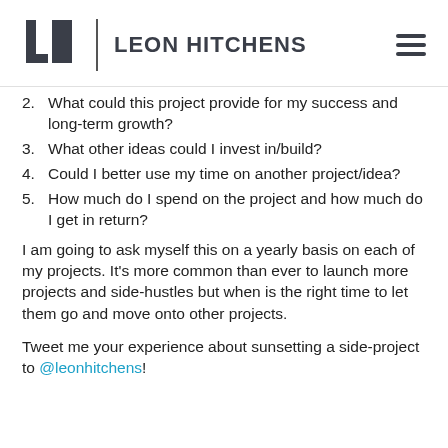Leon Hitchens
2. What could this project provide for my success and long-term growth?
3. What other ideas could I invest in/build?
4. Could I better use my time on another project/idea?
5. How much do I spend on the project and how much do I get in return?
I am going to ask myself this on a yearly basis on each of my projects. It’s more common than ever to launch more projects and side-hustles but when is the right time to let them go and move onto other projects.
Tweet me your experience about sunsetting a side-project to @leonhitchens!